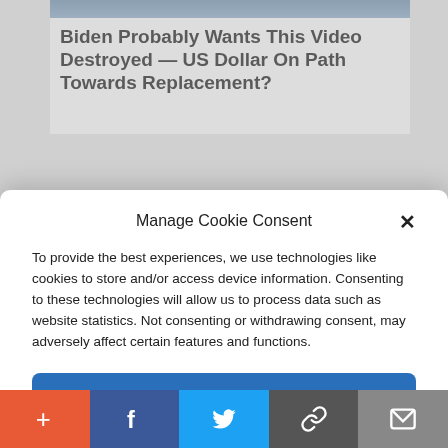[Figure (screenshot): Background article thumbnail image (partially visible, grey-blue sky photo)]
Biden Probably Wants This Video Destroyed — US Dollar On Path Towards Replacement?
Scary)
▲ 48,414
Manage Cookie Consent
To provide the best experiences, we use technologies like cookies to store and/or access device information. Consenting to these technologies will allow us to process data such as website statistics. Not consenting or withdrawing consent, may adversely affect certain features and functions.
Accept
Cookie Policy  Privacy Policy